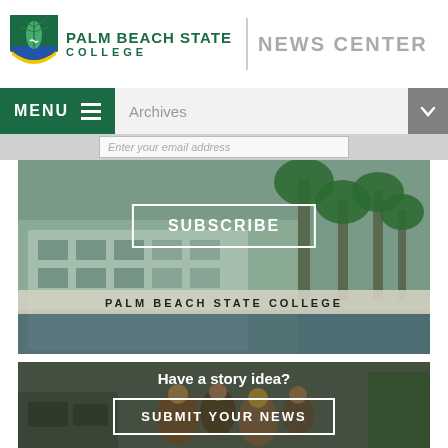[Figure (logo): Palm Beach State College logo with shield and text]
NEWS CENTER
MENU
Archives
Enter your email address
[Figure (photo): Palm Beach State College campus building with palm trees and water feature, SUBSCRIBE button overlay]
SUBSCRIBE
PALM BEACH STATE COLLEGE
[Figure (photo): Students outside campus, Have a story idea? SUBMIT YOUR NEWS overlay]
Have a story idea?
SUBMIT YOUR NEWS